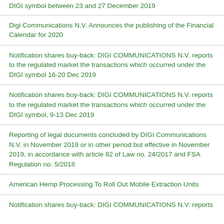DIGI symbol between 23 and 27 December 2019
Digi Communications N.V. Announces the publishing of the Financial Calendar for 2020
Notification shares buy-back: DIGI COMMUNICATIONS N.V. reports to the regulated market the transactions which occurred under the DIGI symbol 16-20 Dec 2019
Notification shares buy-back: DIGI COMMUNICATIONS N.V. reports to the regulated market the transactions which occurred under the DIGI symbol, 9-13 Dec 2019
Reporting of legal documents concluded by DIGI Communications N.V. in November 2019 or in other period but effective in November 2019, in accordance with article 82 of Law no. 24/2017 and FSA Regulation no. 5/2018
American Hemp Processing To Roll Out Mobile Extraction Units
Notification shares buy-back: DIGI COMMUNICATIONS N.V. reports